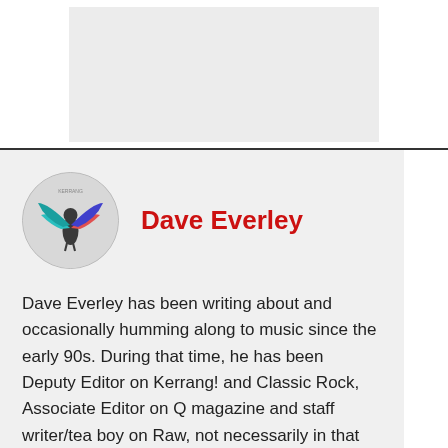[Figure (photo): Gray placeholder image area at the top of the page]
Dave Everley
Dave Everley has been writing about and occasionally humming along to music since the early 90s. During that time, he has been Deputy Editor on Kerrang! and Classic Rock, Associate Editor on Q magazine and staff writer/tea boy on Raw, not necessarily in that order. He has written